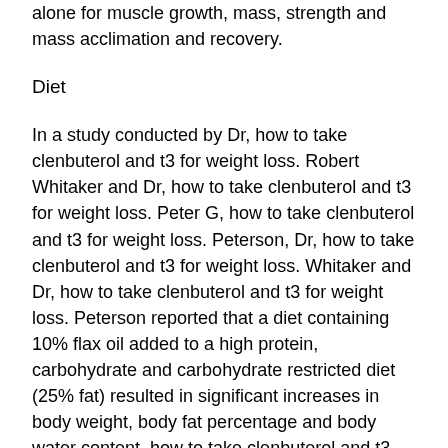alone for muscle growth, mass, strength and mass acclimation and recovery.
Diet
In a study conducted by Dr, how to take clenbuterol and t3 for weight loss. Robert Whitaker and Dr, how to take clenbuterol and t3 for weight loss. Peter G, how to take clenbuterol and t3 for weight loss. Peterson, Dr, how to take clenbuterol and t3 for weight loss. Whitaker and Dr, how to take clenbuterol and t3 for weight loss. Peterson reported that a diet containing 10% flax oil added to a high protein, carbohydrate and carbohydrate restricted diet (25% fat) resulted in significant increases in body weight, body fat percentage and body water content, how to take clenbuterol and t3 for weight loss.
Research indicates that flax seed which...